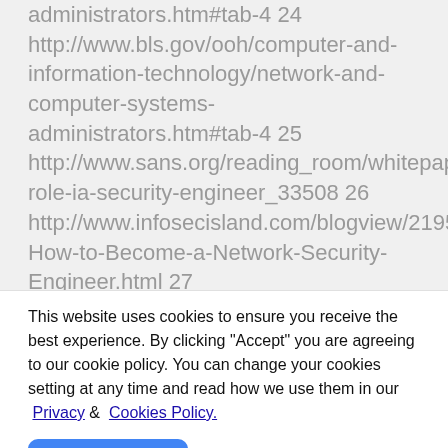administrators.htm#tab-4 24 http://www.bls.gov/ooh/computer-and-information-technology/network-and-computer-systems-administrators.htm#tab-4 25 http://www.sans.org/reading_room/whitepapers/assurance/determining-role-ia-security-engineer_33508 26 http://www.infosecisland.com/blogview/21950-How-to-Become-a-Network-Security-Engineer.html 27 http://www.bls.gov/ooh/Management/Computer-and-information-systems-manager s.htm 28 Defining Information Security Management Position Requirements: Guidance for Executives and Managers ©2012 DeVry Educational Development Corp. All rights reserved.
This website uses cookies to ensure you receive the best experience. By clicking "Accept" you are agreeing to our cookie policy. You can change your cookies setting at any time and read how we use them in our Privacy & Cookies Policy.
Accept
Learn more